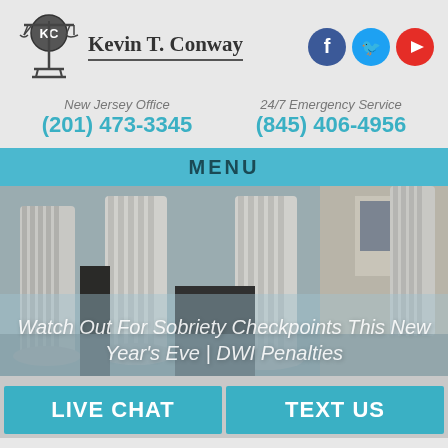[Figure (logo): Kevin T. Conway law firm logo with scales of justice and KC initials]
[Figure (logo): Social media icons: Facebook, Twitter, YouTube]
New Jersey Office
(201) 473-3345
24/7 Emergency Service
(845) 406-4956
MENU
[Figure (photo): Courthouse columns photo with overlay text about sobriety checkpoints]
Watch Out For Sobriety Checkpoints This New Year's Eve | DWI Penalties
LIVE CHAT
TEXT US